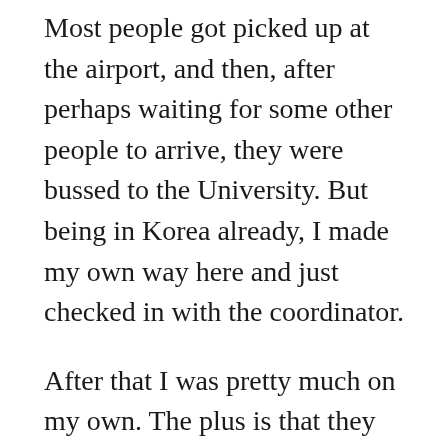Most people got picked up at the airport, and then, after perhaps waiting for some other people to arrive, they were bussed to the University. But being in Korea already, I made my own way here and just checked in with the coordinator.
After that I was pretty much on my own. The plus is that they give plenty of time for people to get settled and rested. Some people are coming from very long distances after all. The minus is that until orientation here, which isn't until next week, there isn't a lot of guidance about how things work. Of course the dorm managers and program coordinators are always willing to help and answer questions.